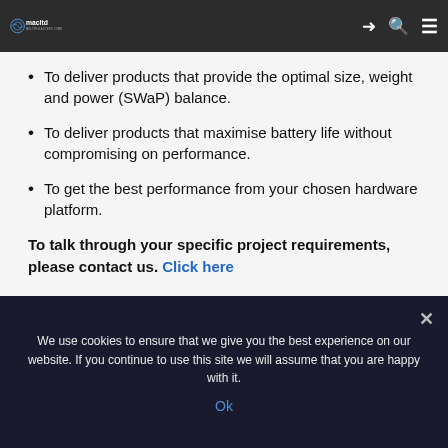macltd – Multiple Access Communications
To deliver products that provide the optimal size, weight and power (SWaP) balance.
To deliver products that maximise battery life without compromising on performance.
To get the best performance from your chosen hardware platform.
To talk through your specific project requirements, please contact us. Click here
We use cookies to ensure that we give you the best experience on our website. If you continue to use this site we will assume that you are happy with it.